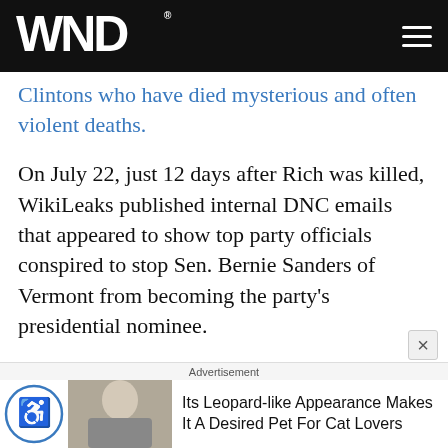WND
Clintons who have died mysterious and often violent deaths.
On July 22, just 12 days after Rich was killed, WikiLeaks published internal DNC emails that appeared to show top party officials conspired to stop Sen. Bernie Sanders of Vermont from becoming the party's presidential nominee.
A commentary by Rachel Alexander at Townhall suggested possible corruption between the Clinton Global Initiative and Kleeb "led to Sanders' cronies
Advertisement: Its Leopard-like Appearance Makes It A Desired Pet For Cat Lovers